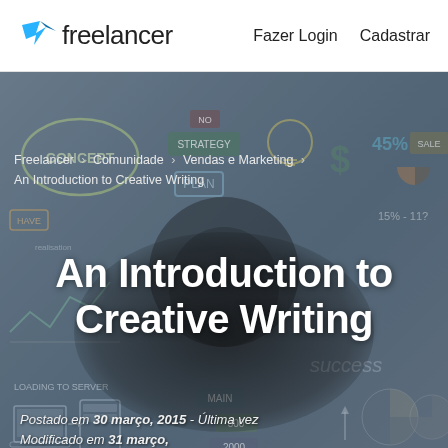Freelancer   Fazer Login   Cadastrar
Freelancer › Comunidade › Vendas e Marketing › An Introduction to Creative Writing
[Figure (illustration): Background hero image showing hand-drawn doodles and sketches of business/marketing concepts on a wooden surface including words like CONCEPT, PLAN, STRATEGY, 45%, dollar signs, charts, pie charts, and a coffee cup in the center]
An Introduction to Creative Writing
Postado em 30 março, 2015 - Última vez Modificado em 31 março, 2015